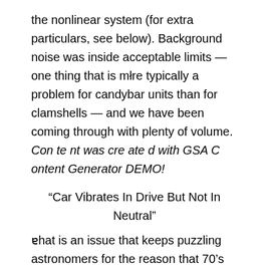the nonlinear system (for extra particulars, see below). Background noise was inside acceptable limits — one thing that is more typically a problem for candybar units than for clamshells — and we have been coming through with plenty of volume. Content was created with GSA Content Generator DEMO!
“Car Vibrates In Drive But Not In Neutral”
That is an issue that keeps puzzling astronomers for the reason that 70’s (Dalgarno, 1976), because the noticed abundances in diffuse clouds are nicely above the values predicted by even the most recent models (e.g. Valdivia et al. The